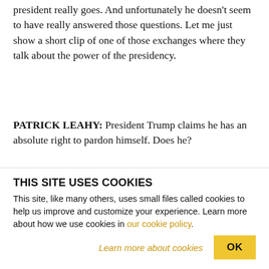president really goes. And unfortunately he doesn't seem to have really answered those questions. Let me just show a short clip of one of those exchanges where they talk about the power of the presidency.
PATRICK LEAHY: President Trump claims he has an absolute right to pardon himself. Does he?
BRETT KAVANAUGH: The question of self-pardons is something I've never analyzed. It's a question that I have not written about.
THIS SITE USES COOKIES
This site, like many others, uses small files called cookies to help us improve and customize your experience. Learn more about how we use cookies in our cookie policy.
Learn more about cookies    OK